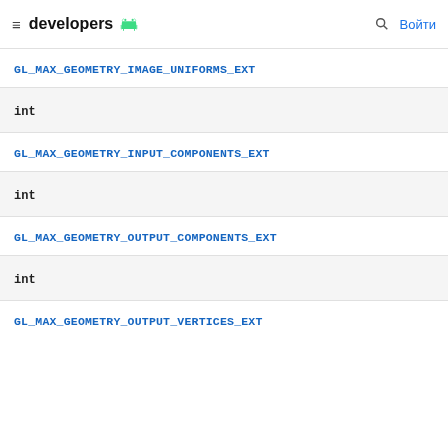developers [android logo] [search] Войти
GL_MAX_GEOMETRY_IMAGE_UNIFORMS_EXT
int
GL_MAX_GEOMETRY_INPUT_COMPONENTS_EXT
int
GL_MAX_GEOMETRY_OUTPUT_COMPONENTS_EXT
int
GL_MAX_GEOMETRY_OUTPUT_VERTICES_EXT